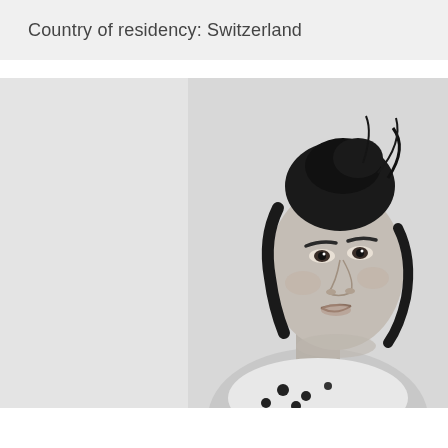Country of residency: Switzerland
[Figure (photo): Black and white portrait photograph of a young woman with dark hair styled in a loose bun on top of her head, wearing a white polka-dot top, looking slightly to the side against a light background.]